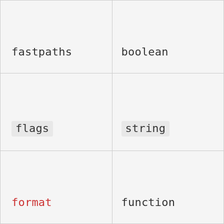| Parameter | Type |
| --- | --- |
| fastpaths | boolean |
| flags | string |
| format | function |